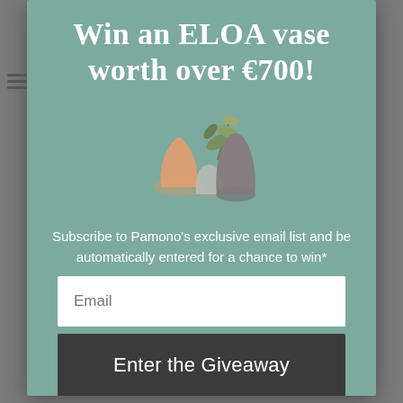Win an ELOA vase worth over €700!
[Figure (illustration): Three ELOA decorative vases: one peach/orange teardrop shape, one small grey frosted vase, and one tall dark smoked grey vase with dried botanicals, arranged together on a teal background.]
Subscribe to Pamono's exclusive email list and be automatically entered for a chance to win*
Email
Enter the Giveaway
*Please read our terms and conditions here